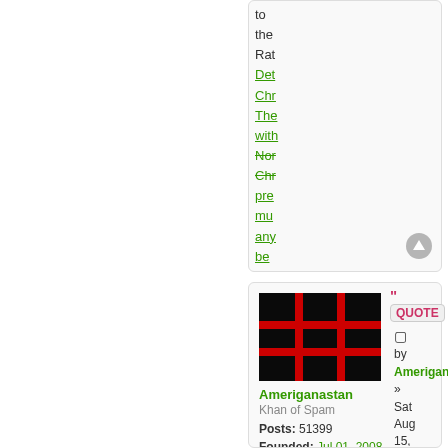to the Ra Det Chr The with Nor Chr pre mu any be like
[Figure (other): Scroll to top button icon]
[Figure (photo): Black flag with red cross grid pattern - Ameriganastan avatar]
Ameriganastan
Khan of Spam
Posts: 51399
Founded: Jul 01, 2008
Iron Fist Consumerists
[Figure (other): QUOTE button with quotation marks]
by Amerigana » Sat Aug 15, 2020 1:54 pm